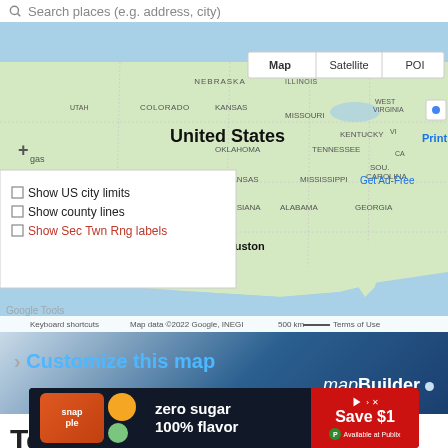Search places (e.g. address, city)
[Figure (map): Google Maps view of the United States showing state borders, major cities including Houston, with Map/Satellite/POI toggle and overlay options panel showing checkboxes for Show US city limits, Show county lines, Show Sec Twn Rng labels]
[Figure (screenshot): mapBuilder banner: '> Customize this map' in blue on dark gradient background with 'mapBuilder' branding in white italic]
randymajors.org Map Tools ©2022 randymajors.org
Township 144 North
[Figure (photo): Snapple advertisement banner: zero sugar 100% flavor, Save $1, Available at Publix]